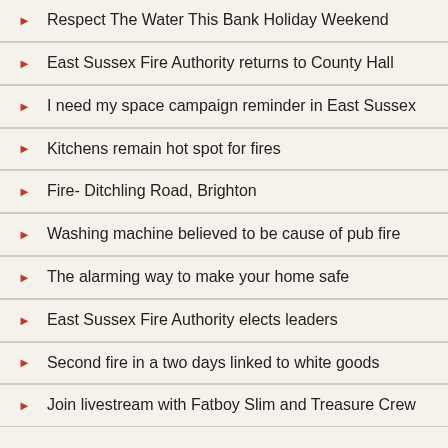Respect The Water This Bank Holiday Weekend
East Sussex Fire Authority returns to County Hall
I need my space campaign reminder in East Sussex
Kitchens remain hot spot for fires
Fire- Ditchling Road, Brighton
Washing machine believed to be cause of pub fire
The alarming way to make your home safe
East Sussex Fire Authority elects leaders
Second fire in a two days linked to white goods
Join livestream with Fatboy Slim and Treasure Crew